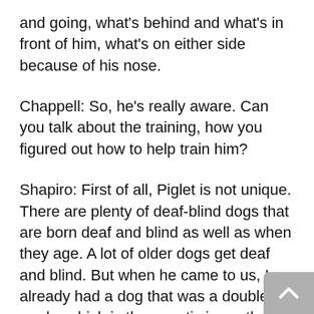and going, what's behind and what's in front of him, what's on either side because of his nose.
Chappell: So, he's really aware. Can you talk about the training, how you figured out how to help train him?
Shapiro: First of all, Piglet is not unique. There are plenty of deaf-blind dogs that are born deaf and blind as well as when they age. A lot of older dogs get deaf and blind. But when he came to us, I already had a dog that was a double merle, which is the genetic issue that he has. There's the merle gene that causes that marbly color in the dog's coat. When the two parents are merle–or it's called dapple in doxie in various other breeds. When both parents are